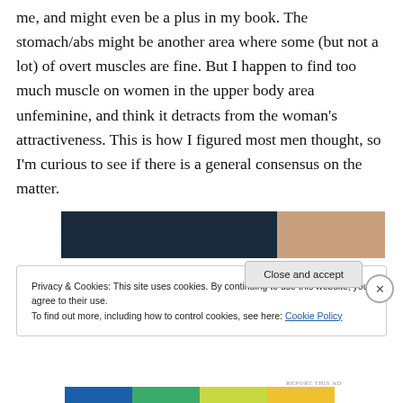me, and might even be a plus in my book. The stomach/abs might be another area where some (but not a lot) of overt muscles are fine. But I happen to find too much muscle on women in the upper body area unfeminine, and think it detracts from the woman's attractiveness. This is how I figured most men thought, so I'm curious to see if there is a general consensus on the matter.
[Figure (photo): Advertisement banner: dark navy blue rectangle on the left, skin-toned image on the right showing a close-up of hands or skin.]
Privacy & Cookies: This site uses cookies. By continuing to use this website, you agree to their use.
To find out more, including how to control cookies, see here: Cookie Policy
Close and accept